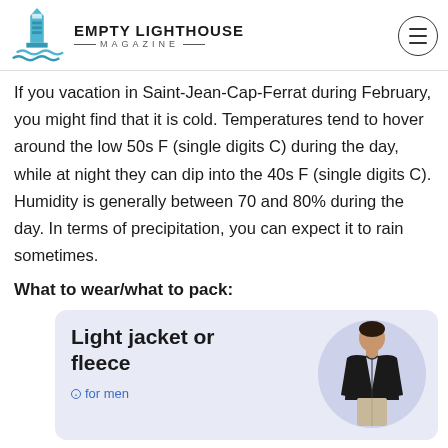EMPTY LIGHTHOUSE MAGAZINE
If you vacation in Saint-Jean-Cap-Ferrat during February, you might find that it is cold. Temperatures tend to hover around the low 50s F (single digits C) during the day, while at night they can dip into the 40s F (single digits C). Humidity is generally between 70 and 80% during the day. In terms of precipitation, you can expect it to rain sometimes.
What to wear/what to pack:
[Figure (other): Product card showing 'Light jacket or fleece' with a person wearing a dark fleece jacket on a light purple/blue background card, with a link 'for men' at the bottom.]